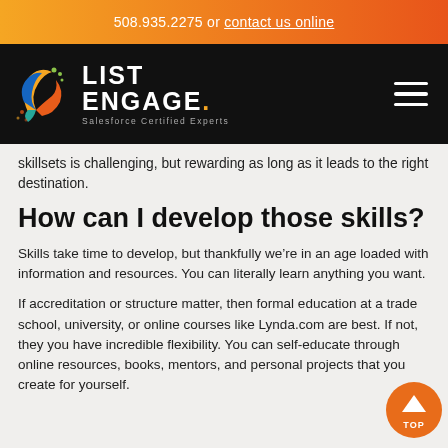508.935.2275 or contact us online
[Figure (logo): List Engage logo with colorful swoosh icon and text 'LIST ENGAGE. Salesforce Certified Experts' on black background with hamburger menu]
skillsets is challenging, but rewarding as long as it leads to the right destination.
How can I develop those skills?
Skills take time to develop, but thankfully we’re in an age loaded with information and resources. You can literally learn anything you want.
If accreditation or structure matter, then formal education at a trade school, university, or online courses like Lynda.com are best. If not, they you have incredible flexibility. You can self-educate through online resources, books, mentors, and personal projects that you create for yourself.